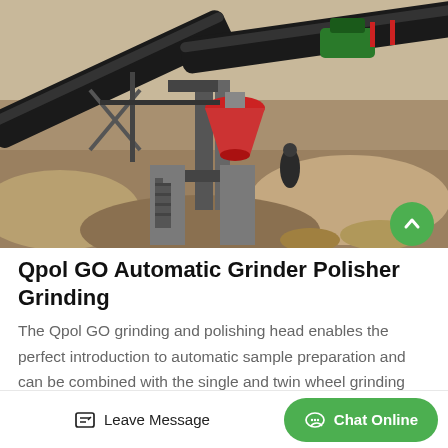[Figure (photo): Aerial/overhead view of industrial mining or quarrying conveyor belt system with machinery, structural steel supports, and rocky terrain]
Qpol GO Automatic Grinder Polisher Grinding
The Qpol GO grinding and polishing head enables the perfect introduction to automatic sample preparation and can be combined with the single and twin wheel grinding and polishing machines Qpol 250 M1 2 and Qpol 300 M1 ...